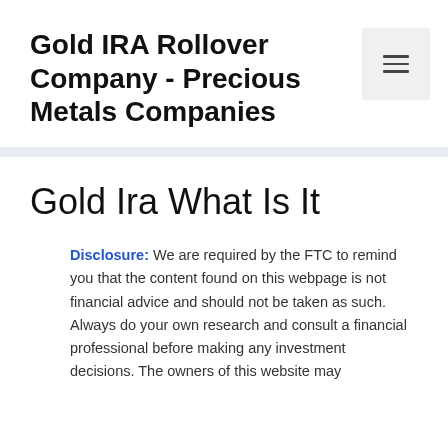Gold IRA Rollover Company - Precious Metals Companies
Gold Ira What Is It
Disclosure: We are required by the FTC to remind you that the content found on this webpage is not financial advice and should not be taken as such. Always do your own research and consult a financial professional before making any investment decisions. The owners of this website may